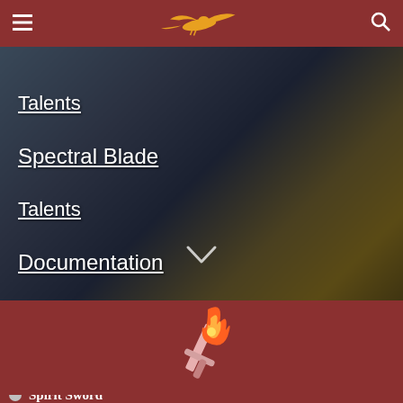Navigation bar with hamburger menu, logo, and search icon
Talents
Spectral Blade
Talents
Documentation
[Figure (illustration): Flame sword icon on dark red background]
Spirit Sword (partially visible)